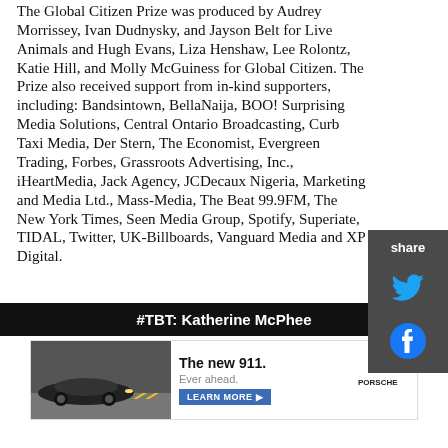The Global Citizen Prize was produced by Audrey Morrissey, Ivan Dudnysky, and Jayson Belt for Live Animals and Hugh Evans, Liza Henshaw, Lee Rolontz, Katie Hill, and Molly McGuiness for Global Citizen. The Prize also received support from in-kind supporters, including: Bandsintown, BellaNaija, BOO! Surprising Media Solutions, Central Ontario Broadcasting, Curb Taxi Media, Der Stern, The Economist, Evergreen Trading, Forbes, Grassroots Advertising, Inc., iHeartMedia, Jack Agency, JCDecaux Nigeria, Marketing and Media Ltd., Mass-Media, The Beat 99.9FM, The New York Times, Seen Media Group, Spotify, Superiate, TIDAL, Twitter, UK-Billboards, Vanguard Media and XP Digital.
[Figure (other): Social share sidebar with Twitter and Facebook icons on dark grey background]
#TBT: Katherine McPhee
[Figure (photo): Advertisement for Porsche 911 showing car image, text 'The new 911. Ever ahead.' with Learn More button and Porsche logo]